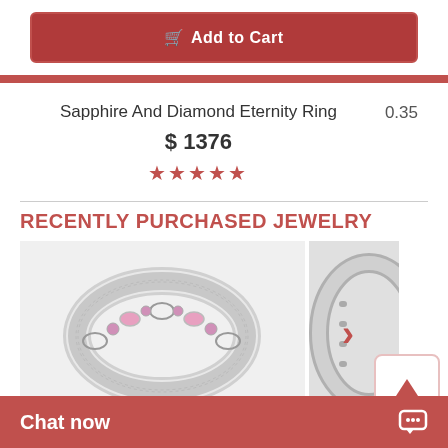Add to Cart
Sapphire And Diamond Eternity Ring
$ 1376
★★★★★
0.35
RECENTLY PURCHASED JEWELRY
[Figure (photo): Pink sapphire and diamond eternity ring in white gold, marquise and round settings]
[Figure (photo): Partial view of second jewelry ring item]
0.33 Ct. Art D...
Chat now